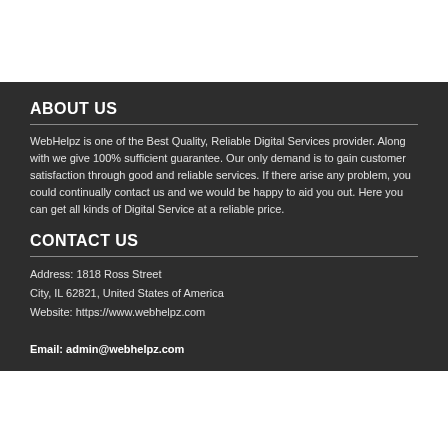ABOUT US
WebHelpz is one of the Best Quality, Reliable Digital Services provider. Along with we give 100% sufficient guarantee. Our only demand is to gain customer satisfaction through good and reliable services. If there arise any problem, you could continually contact us and we would be happy to aid you out. Here you can get all kinds of Digital Service at a reliable price.
CONTACT US
Address: 1818 Ross Street
City, IL 62821, United States of America
Website: https://www.webhelpz.com
Email: admin@webhelpz.com